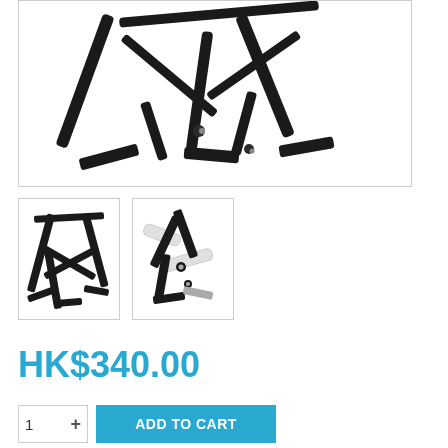[Figure (photo): Main product photo of a black bicycle rear carrier/rack showing the frame structure with mounting legs and hardware, close-up detail view on white background]
[Figure (photo): Thumbnail photo 1: Side view of black bicycle rear carrier rack showing full frame with mounting legs on white background]
[Figure (photo): Thumbnail photo 2: Close-up of black bicycle rear carrier rack mounted on a white bicycle frame showing attachment hardware]
HK$340.00
ADD TO CART